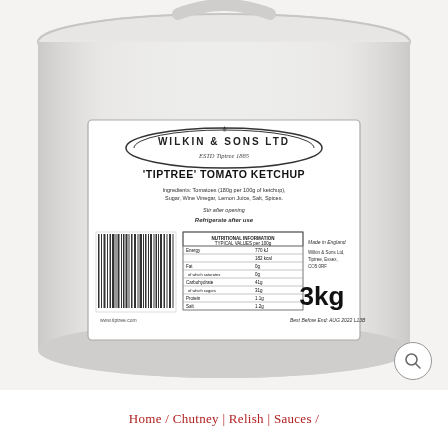[Figure (photo): A large white plastic 3kg tub of Wilkin & Sons Ltd 'Tiptree' Tomato Ketchup. The label shows the brand name, ingredients, nutritional information table, barcode, and a best before date of AUG 2022.]
Home / Chutney | Relish | Sauces /